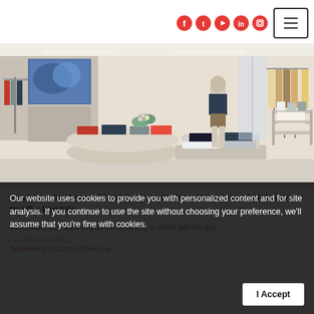Social media icons and hamburger menu button
[Figure (photo): Interior of a J Lindeberg fashion retail store showing white display tables with folded clothing, mannequins, and clothing racks with garments in a bright, minimalist space]
Scandinavian brand J Lindeberg capitalises on the rise of athleisure to offer lifestyle
J Lindeberg was started by Johan Lindeberg in 1990s with the aim...
Continue Reading
September 2, 2022 | By Shruthi Nair
Our website uses cookies to provide you with personalized content and for site analysis. If you continue to use the site without choosing your preference, we'll assume that you're fine with cookies.